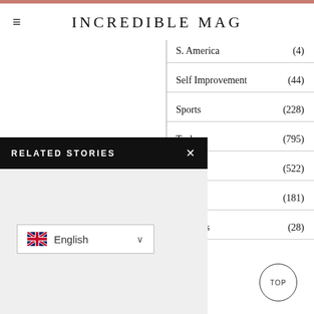INCREDIBLE MAG
S. America (4)
Self Improvement (44)
Sports (228)
Tech (795)
Travel (522)
Guides (181)
Reviews (28)
RELATED STORIES
English
TOP